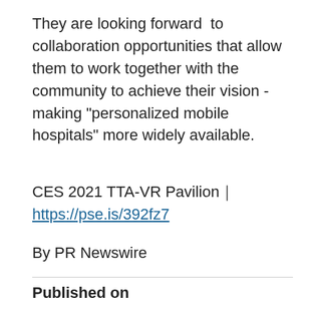They are looking forward  to collaboration opportunities that allow them to work together with the community to achieve their vision - making "personalized mobile hospitals" more widely available.
CES 2021 TTA-VR Pavilion｜https://pse.is/392fz7
By PR Newswire
Published on